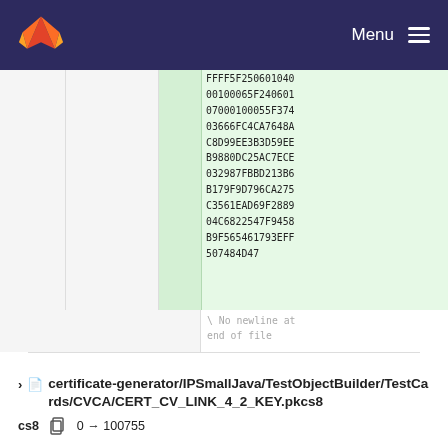Menu
FFFF5F250601040
00100065F240601
07000100055F374
03666FC4CA7648A
C8D99EE3B3D59EE
B9880DC25AC7ECE
032987FBBD213B6
B179F9D796CA275
C3561EAD69F2889
04C6822547F9458
B9F565461793EFF
507484D47
\ No newline at end of file
certificate-generator/IPSmallJava/TestObjectBuilder/TestCards/CVCA/CERT_CV_LINK_4_2_KEY.pkcs8
0 → 100755